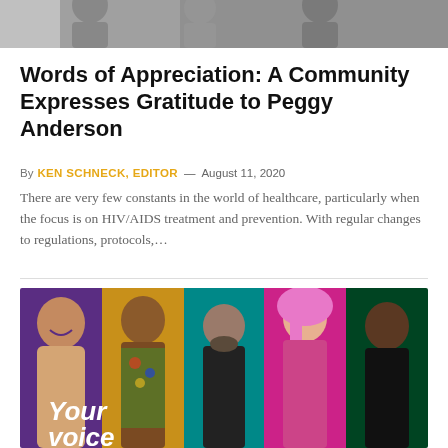[Figure (photo): Top portion of a photo showing people, cropped at top of page]
Words of Appreciation: A Community Expresses Gratitude to Peggy Anderson
By KEN SCHNECK, EDITOR — August 11, 2020
There are very few constants in the world of healthcare, particularly when the focus is on HIV/AIDS treatment and prevention. With regular changes to regulations, protocols,...
[Figure (photo): Composite photo of five diverse people against colorful backgrounds with text 'Your voice' overlaid]